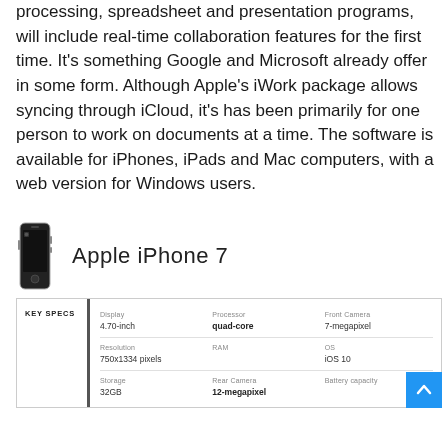processing, spreadsheet and presentation programs, will include real-time collaboration features for the first time. It's something Google and Microsoft already offer in some form. Although Apple's iWork package allows syncing through iCloud, it's has been primarily for one person to work on documents at a time. The software is available for iPhones, iPads and Mac computers, with a web version for Windows users.
[Figure (other): Apple iPhone 7 product image with device spec card showing Key Specs: Display 4.70-inch, Processor quad-core, Front Camera 7-megapixel, Resolution 750x1334 pixels, RAM, OS iOS 10, Storage 32GB, Rear Camera 12-megapixel, Battery capacity]
| KEY SPECS | Display | Processor | Front Camera | Resolution | RAM | OS | Storage | Rear Camera | Battery capacity |
| --- | --- | --- | --- | --- | --- | --- | --- | --- | --- |
|  | 4.70-inch | quad-core | 7-megapixel |
|  | 750x1334 pixels |  | iOS 10 |
|  | 32GB | 12-megapixel |  |